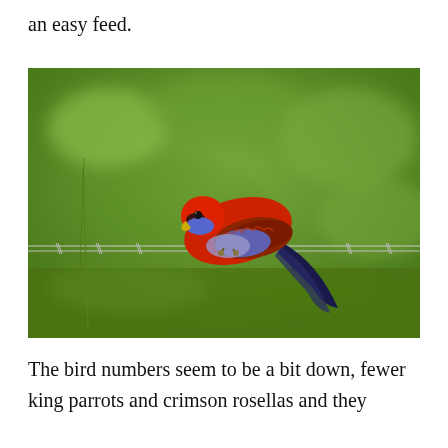an easy feed.
[Figure (photo): A crimson rosella (red and blue parrot) perched on a barbed wire fence, with a blurred green grassy background.]
The bird numbers seem to be a bit down, fewer king parrots and crimson rosellas and they